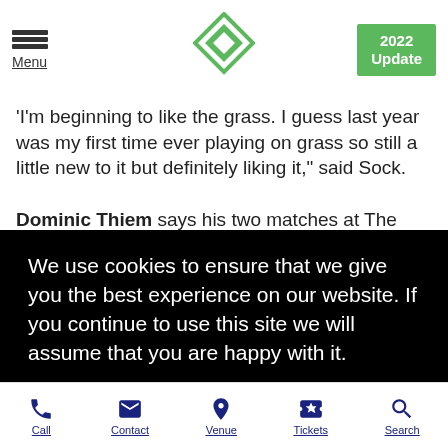Menu | [Logo] | 2022 Update
'I'm beginning to like the grass. I guess last year was my first time ever playing on grass so still a little new to it but definitely liking it,' said Sock.
Dominic Thiem says his two matches at The Boodles have helped build his confidence for the first round at The
We use cookies to ensure that we give you the best experience on our website. If you continue to use this site we will assume that you are happy with it.
OK
Call | Contact | Venue | Tickets | Search